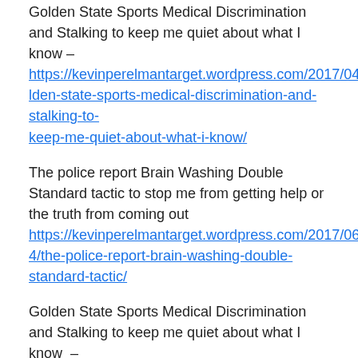Golden State Sports Medical Discrimination and Stalking to keep me quiet about what I know – https://kevinperelmantarget.wordpress.com/2017/04/12/golden-state-sports-medical-discrimination-and-stalking-to-keep-me-quiet-about-what-i-know/
The police report Brain Washing Double Standard tactic to stop me from getting help or the truth from coming out https://kevinperelmantarget.wordpress.com/2017/06/24/the-police-report-brain-washing-double-standard-tactic/
Golden State Sports Medical Discrimination and Stalking to keep me quiet about what I know  – https://kevinperelmantarget.wordpress.com/2017/04/12/golden-state-sports-medical-discrimination-and-stalking-to-keep-me-quiet-about-what-i-know/
Metro Complex Security Guard trying to Mace me on